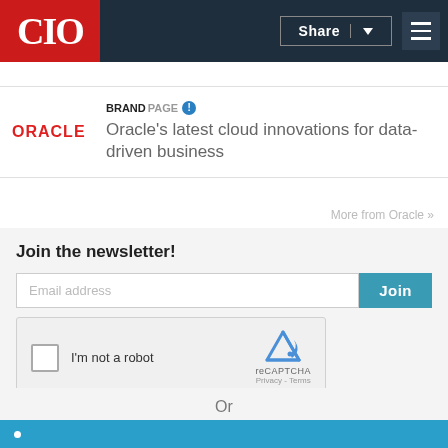CIO
[Figure (logo): Oracle logo in red text]
BRANDPAGE  Oracle's latest cloud innovations for data-driven business
More from Oracle »
Join the newsletter!
Email address
Join
I'm not a robot
reCAPTCHA
Privacy - Terms
Or